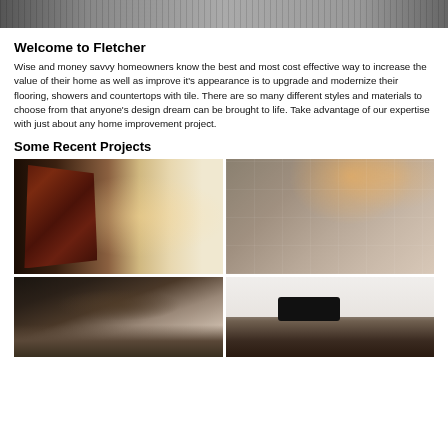[Figure (photo): Partial top banner image showing a logo or header graphic]
Welcome to Fletcher
Wise and money savvy homeowners know the best and most cost effective way to increase the value of their home as well as improve it's appearance is to upgrade and modernize their flooring, showers and countertops with tile. There are so many different styles and materials to choose from that anyone's design dream can be brought to life. Take advantage of our expertise with just about any home improvement project.
Some Recent Projects
[Figure (photo): Interior hallway with dark wood barn door on sliding track, wood plank flooring, white walls, warm accent lighting at end of hall]
[Figure (photo): Tiled shower with large gray stone-look tiles, two wall sconce lights, recessed niche in wall]
[Figure (photo): Kitchen island area with modern pendant lights hanging from dark ceiling beam]
[Figure (photo): Kitchen with white upper cabinets, dark tile backsplash, black appliances, white countertops and sink]